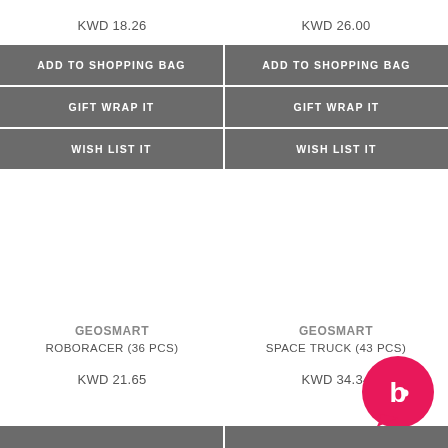KWD 18.26
KWD 26.00
ADD TO SHOPPING BAG
ADD TO SHOPPING BAG
GIFT WRAP IT
GIFT WRAP IT
WISH LIST IT
WISH LIST IT
GEOSMART
ROBORACER (36 PCS)
GEOSMART
SPACE TRUCK (43 PCS)
KWD 21.65
KWD 34.34
[Figure (logo): Circular pink chat bubble logo with white letter b inside]